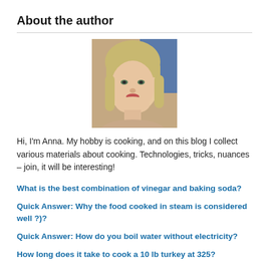About the author
[Figure (photo): Headshot photo of a young woman with blonde hair and bangs, smiling, against a blurred background.]
Hi, I'm Anna. My hobby is cooking, and on this blog I collect various materials about cooking. Technologies, tricks, nuances – join, it will be interesting!
What is the best combination of vinegar and baking soda?
Quick Answer: Why the food cooked in steam is considered well ?)?
Quick Answer: How do you boil water without electricity?
How long does it take to cook a 10 lb turkey at 325?